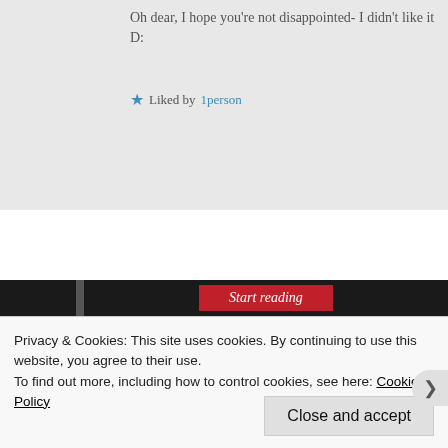Oh dear, I hope you're not disappointed- I didn't like it D:
★ Liked by 1person
[Figure (screenshot): Start reading button bar with dark background and red button labeled 'Start reading' in italic text]
Privacy & Cookies: This site uses cookies. By continuing to use this website, you agree to their use.
To find out more, including how to control cookies, see here: Cookie Policy
Close and accept